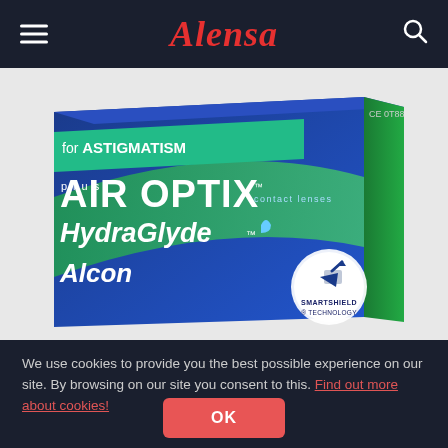Alensa
[Figure (photo): Product box of Air Optix plus HydraGlyde for Astigmatism contact lenses by Alcon, featuring SMARTSHIELD TECHNOLOGY badge, blue and green packaging.]
We use cookies to provide you the best possible experience on our site. By browsing on our site you consent to this. Find out more about cookies!
OK